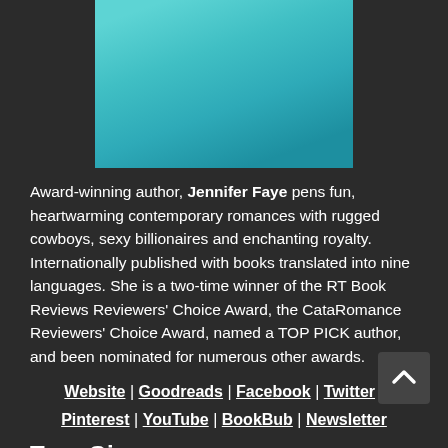[Figure (photo): Partial photo of a person wearing a teal/turquoise outfit, cropped at the top of the page]
Award-winning author, Jennifer Faye pens fun, heartwarming contemporary romances with rugged cowboys, sexy billionaires and enchanting royalty. Internationally published with books translated into nine languages. She is a two-time winner of the RT Book Reviews Reviewers' Choice Award, the CataRomance Reviewers' Choice Award, named a TOP PICK author, and been nominated for numerous other awards.
Website | Goodreads | Facebook | Twitter | Pinterest | YouTube | BookBub | Newsletter
Tour Giveaway